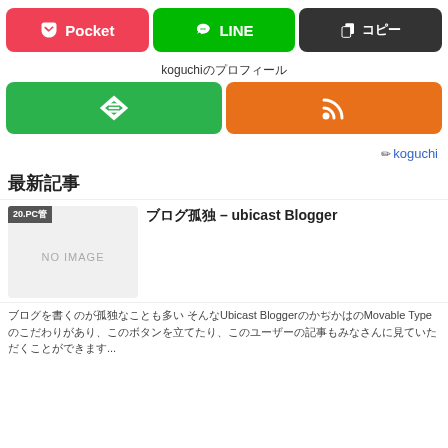[Figure (infographic): Three share buttons: Pocket (pink), LINE (green), copy (dark gray)]
koguchiのプロフィール
[Figure (infographic): Two subscription buttons: Feedly (green with diamond icon), RSS (orange with wifi/RSS icon)]
✏ koguchi
最新記事
[Figure (photo): Article thumbnail showing NO IMAGE placeholder with 20.PC badge]
ブログ孤独 – ubicast Blogger
ブログを書くのが孤独なことも多い そんなUbicast Bloggerのか゘かはのMovable Typeのこだわりがあり、このボタンを立てたり、このユーザーの記事もみなさんに見ていただくことができます...